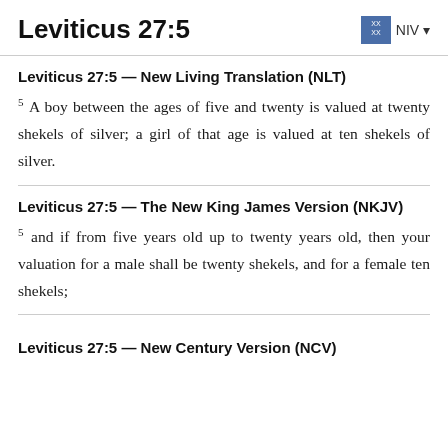Leviticus 27:5  NIV
Leviticus 27:5 — New Living Translation (NLT)
5 A boy between the ages of five and twenty is valued at twenty shekels of silver; a girl of that age is valued at ten shekels of silver.
Leviticus 27:5 — The New King James Version (NKJV)
5 and if from five years old up to twenty years old, then your valuation for a male shall be twenty shekels, and for a female ten shekels;
Leviticus 27:5 — New Century Version (NCV)